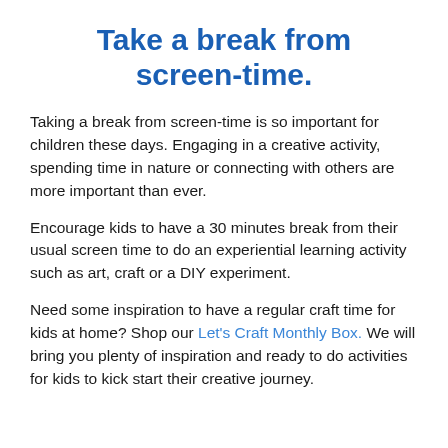Take a break from screen-time.
Taking a break from screen-time is so important for children these days. Engaging in a creative activity, spending time in nature or connecting with others are more important than ever.
Encourage kids to have a 30 minutes break from their usual screen time to do an experiential learning activity such as art, craft or a DIY experiment.
Need some inspiration to have a regular craft time for kids at home? Shop our Let's Craft Monthly Box. We will bring you plenty of inspiration and ready to do activities for kids to kick start their creative journey.